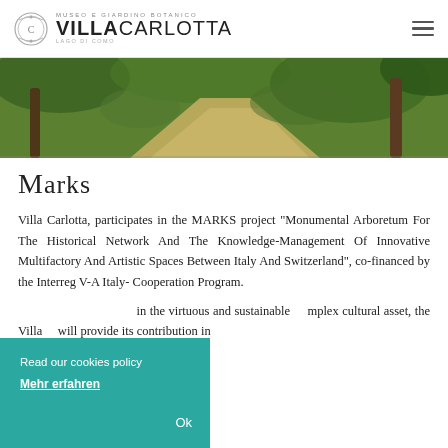MUSEO E GIARDINO BOTANICO VILLACARLOTTA LAGO DI COMO
[Figure (photo): Outdoor garden path with green foliage and trees, natural light, earthy tones]
Marks
Villa Carlotta, participates in the MARKS project "Monumental Arboretum For The Historical Network And The Knowledge-Management Of Innovative Multifactory And Artistic Spaces Between Italy And Switzerland", co-financed by the Interreg V-A Italy-Cooperation Program.
in the virtuous and sustainable mplex cultural asset, the Villa will provide its contribution in
Read our cookies policy
Mehr erfahren
Ok